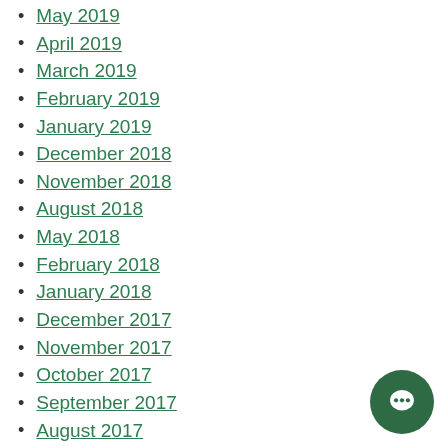May 2019
April 2019
March 2019
February 2019
January 2019
December 2018
November 2018
August 2018
May 2018
February 2018
January 2018
December 2017
November 2017
October 2017
September 2017
August 2017
July 2017
March 2017
February 2017